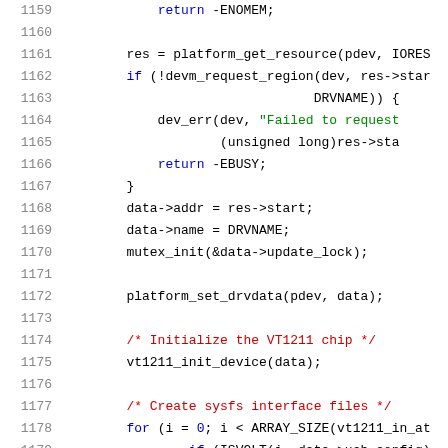Source code listing, lines 1159-1179, C kernel driver code